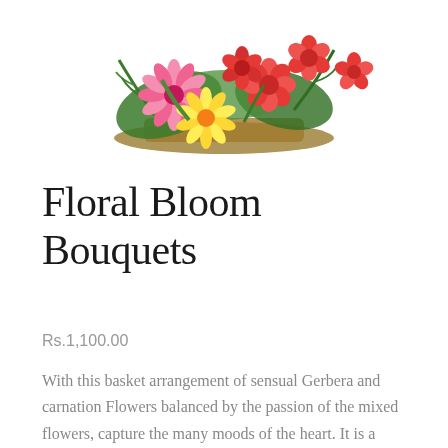[Figure (photo): Floral basket arrangement with pink and red gerberas, yellow daisies, red carnations, and green foliage on a white background]
Floral Bloom Bouquets
Rs.1,100.00
With this basket arrangement of sensual Gerbera and carnation Flowers balanced by the passion of the mixed flowers, capture the many moods of the heart. It is a perfect gift for your loved ones in birthdays, anniversaries, weddings or any other special occasions.